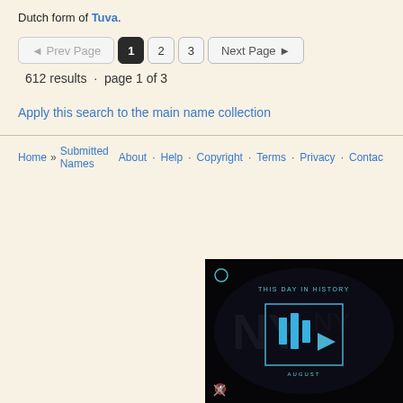Dutch form of Tuva.
◄ Prev Page  1  2  3  Next Page ►
612 results  ·  page 1 of 3
Apply this search to the main name collection
Home » Submitted Names   About · Help · Copyright · Terms · Privacy · Contact
[Figure (screenshot): Video player thumbnail showing 'THIS DAY IN HISTORY' with play button and AUGUST label on dark background]